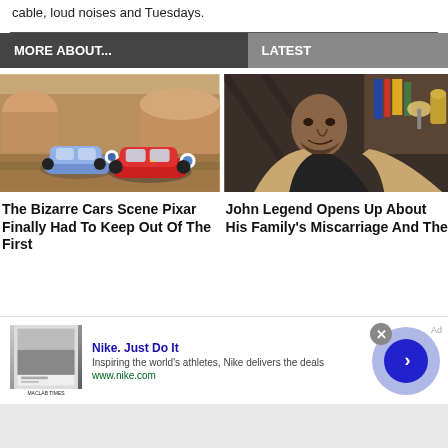cable, loud noises and Tuesdays.
MORE ABOUT...
LATEST
[Figure (photo): Animated cars from Pixar's Cars movie — a blue car and red Lightning McQueen in a town setting]
The Bizarre Cars Scene Pixar Finally Had To Keep Out Of The First
[Figure (photo): John Legend speaking, dressed in black turtleneck with beige jacket, bookshelf in background]
John Legend Opens Up About His Family's Miscarriage And The
[Figure (screenshot): Nike advertisement banner: Nike. Just Do It — Inspiring the world's athletes, Nike delivers the deals — www.nike.com — with arrow button]